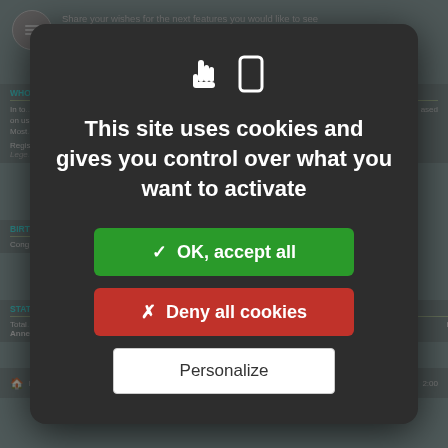[Figure (screenshot): Background website content partially visible behind cookie consent modal, showing forum sections labeled WHO, BIRTHDAY, STATISTICS with blurred text]
[Figure (infographic): Cookie consent modal dialog with hand/cookie icons, text, and three buttons]
This site uses cookies and gives you control over what you want to activate
✓ OK, accept all
✗ Deny all cookies
Personalize